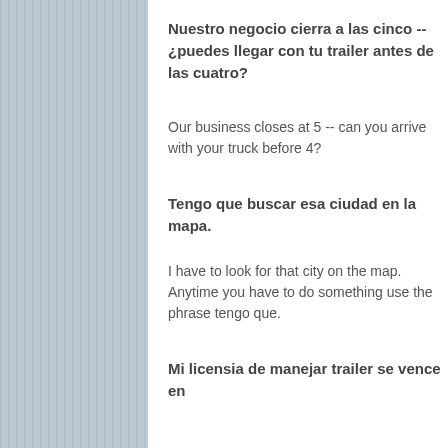Nuestro negocio cierra a las cinco -- ¿puedes llegar con tu trailer antes de las cuatro?
Our business closes at 5 -- can you arrive with your truck before 4?
Tengo que buscar esa ciudad en la mapa.
I have to look for that city on the map. Anytime you have to do something use the phrase tengo que.
Mi licensia de manejar trailer se vence en